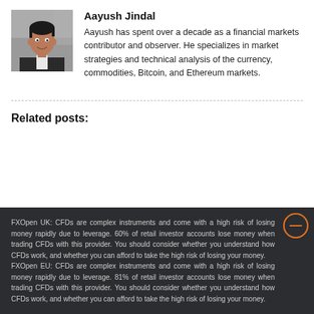[Figure (photo): Headshot photo of Aayush Jindal, a man in a dark jacket, smiling, in an office setting]
Aayush Jindal
Aayush has spent over a decade as a financial markets contributor and observer. He specializes in market strategies and technical analysis of the currency, commodities, Bitcoin, and Ethereum markets.
Related posts:
FXOpen UK: CFDs are complex instruments and come with a high risk of losing money rapidly due to leverage. 60% of retail investor accounts lose money when trading CFDs with this provider. You should consider whether you understand how CFDs work, and whether you can afford to take the high risk of losing your money. FXOpen EU: CFDs are complex instruments and come with a high risk of losing money rapidly due to leverage. 81% of retail investor accounts lose money when trading CFDs with this provider. You should consider whether you understand how CFDs work, and whether you can afford to take the high risk of losing your money.